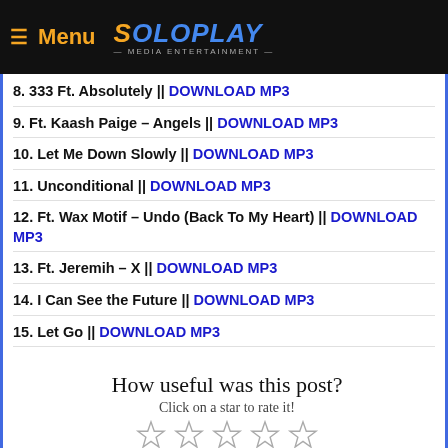≡ Menu | SoloPlay Media Entertainment
8. 333 Ft. Absolutely || DOWNLOAD MP3
9. Ft. Kaash Paige – Angels || DOWNLOAD MP3
10. Let Me Down Slowly || DOWNLOAD MP3
11. Unconditional || DOWNLOAD MP3
12. Ft. Wax Motif – Undo (Back To My Heart) || DOWNLOAD MP3
13. Ft. Jeremih – X || DOWNLOAD MP3
14. I Can See the Future || DOWNLOAD MP3
15. Let Go || DOWNLOAD MP3
How useful was this post?
Click on a star to rate it!